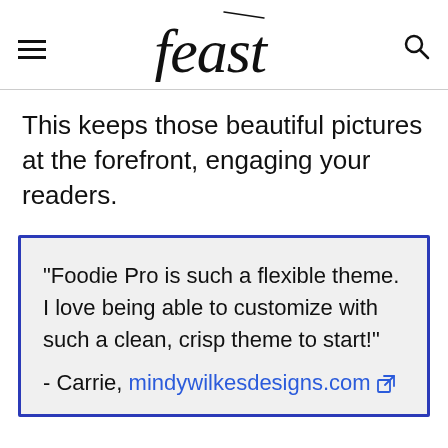feast
This keeps those beautiful pictures at the forefront, engaging your readers.
"Foodie Pro is such a flexible theme. I love being able to customize with such a clean, crisp theme to start!" - Carrie, mindywilkesdesigns.com